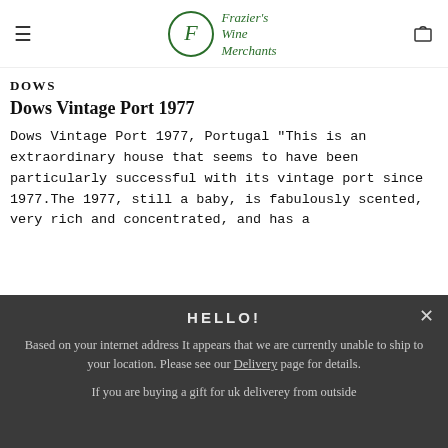Frazier's Wine Merchants
DOWS
Dows Vintage Port 1977
Dows Vintage Port 1977, Portugal "This is an extraordinary house that seems to have been particularly successful with its vintage port since 1977.The 1977, still a baby, is fabulously scented, very rich and concentrated, and has a
HELLO!
Based on your internet address It appears that we are currently unable to ship to your location. Please see our Delivery page for details.
If you are buying a gift for uk deliverey from outside